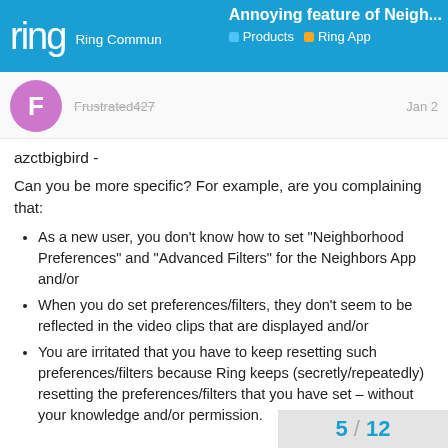ring Ring Commun Annoying feature of Neigh... Products Ring App
Frustrated427 Jan 2
azctbigbird -
Can you be more specific? For example, are you complaining that:
As a new user, you don't know how to set "Neighborhood Preferences" and "Advanced Filters" for the Neighbors App and/or
When you do set preferences/filters, they don't seem to be reflected in the video clips that are displayed and/or
You are irritated that you have to keep resetting such preferences/filters because Ring keeps (secretly/repeatedly) resetting the preferences/filters that you have set – without your knowledge and/or permission.
5 / 12